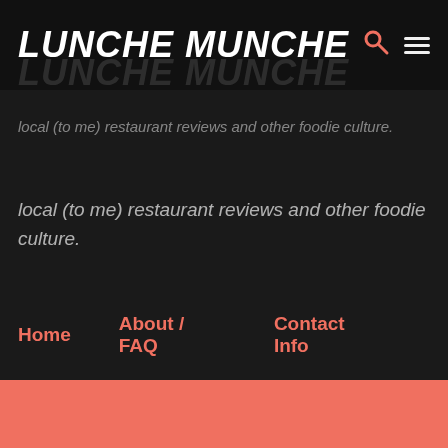LUNCHE MUNCHE
local (to me) restaurant reviews and other foodie culture.
Home
About / FAQ
Contact Info